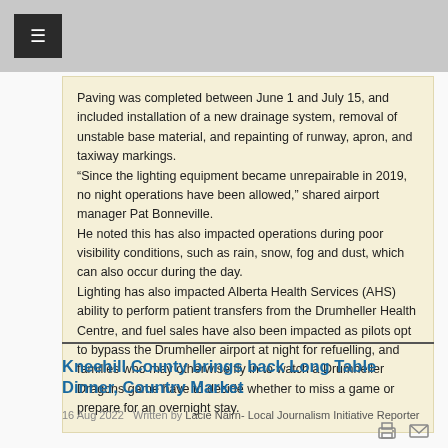≡
Paving was completed between June 1 and July 15, and included installation of a new drainage system, removal of unstable base material, and repainting of runway, apron, and taxiway markings. “Since the lighting equipment became unrepairable in 2019, no night operations have been allowed,” shared airport manager Pat Bonneville.
He noted this has also impacted operations during poor visibility conditions, such as rain, snow, fog and dust, which can also occur during the day.
Lighting has also impacted Alberta Health Services (AHS) ability to perform patient transfers from the Drumheller Health Centre, and fuel sales have also been impacted as pilots opt to bypass the Drumheller airport at night for refuelling, and families who may otherwise fly in to watch a Drumheller Dragons game have to decide whether to miss a game or prepare for an overnight stay.
Kneehill County brings back Long Table Dinner, Country Market
16 Aug 2022   Written by Lacie Nairn- Local Journalism Initiative Reporter